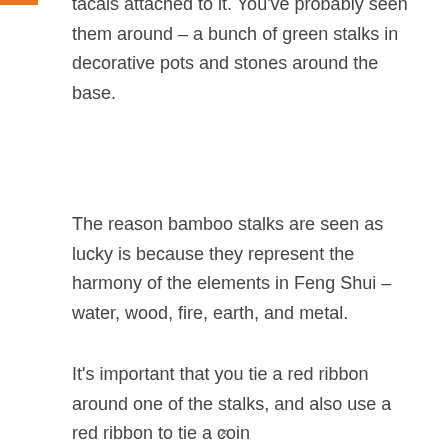tácals attached to it. You've probably seen them around – a bunch of green stalks in decorative pots and stones around the base.
The reason bamboo stalks are seen as lucky is because they represent the harmony of the elements in Feng Shui – water, wood, fire, earth, and metal.
It's important that you tie a red ribbon around one of the stalks, and also use a red ribbon to tie a coin